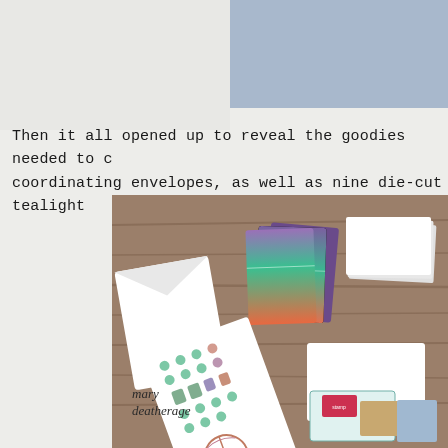[Figure (photo): Top section with white left area and dusty blue rectangular panel on the right]
Then it all opened up to reveal the goodies needed to c... coordinating envelopes, as well as nine die-cut tealight...
[Figure (photo): Photograph on a wooden table surface showing crafting supplies: colorful gradient cards (purple, teal, orange), white cards, sticker sheets with green and botanical motifs, envelopes, and small packaged items. Watermark reads 'mary deatherage' in italic cursive.]